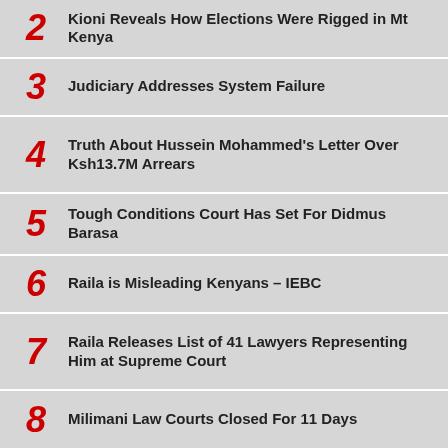2  Kioni Reveals How Elections Were Rigged in Mt Kenya
3  Judiciary Addresses System Failure
4  Truth About Hussein Mohammed's Letter Over Ksh13.7M Arrears
5  Tough Conditions Court Has Set For Didmus Barasa
6  Raila is Misleading Kenyans – IEBC
7  Raila Releases List of 41 Lawyers Representing Him at Supreme Court
8  Milimani Law Courts Closed For 11 Days